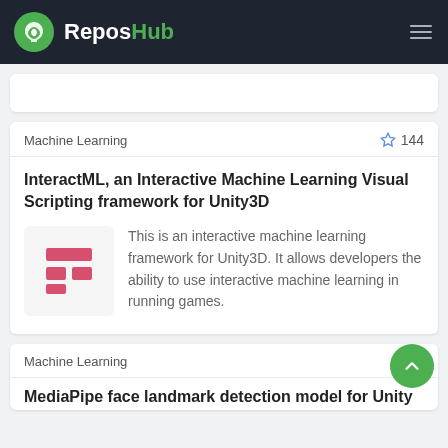ReposHub
Machine Learning  ☆ 144
InteractML, an Interactive Machine Learning Visual Scripting framework for Unity3D
[Figure (logo): InteractML logo with red/pink horizontal and L-shaped blocks on light grey background]
This is an interactive machine learning framework for Unity3D. It allows developers the ability to use interactive machine learning in running games.
Machine Learning
MediaPipe face landmark detection model for Unity